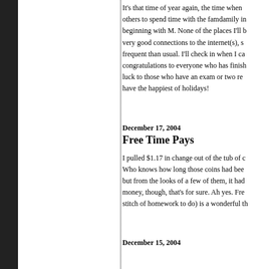It's that time of year again, the time when others to spend time with the famdamily in beginning with M. None of the places I'll b very good connections to the internet(s), s frequent than usual. I'll check in when I ca congratulations to everyone who has finish luck to those who have an exam or two re have the happiest of holidays!
December 17, 2004
Free Time Pays
I pulled $1.17 in change out of the tub of c Who knows how long those coins had bee but from the looks of a few of them, it had money, though, that's for sure. Ah yes. Fre stitch of homework to do) is a wonderful th
December 15, 2004